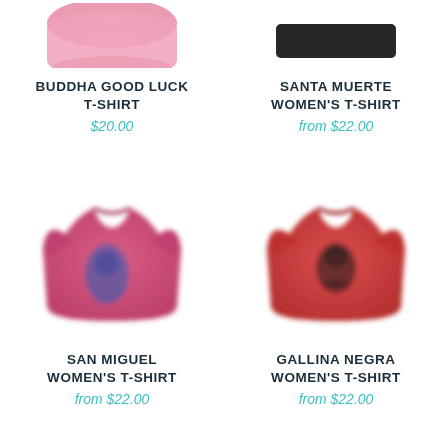[Figure (photo): Partial pink t-shirt image cropped at top]
BUDDHA GOOD LUCK T-SHIRT
$20.00
[Figure (photo): Partial dark-colored garment image cropped at top]
SANTA MUERTE WOMEN'S T-SHIRT
from $22.00
[Figure (photo): Pink/magenta women's t-shirt with blue Buddha graphic]
SAN MIGUEL WOMEN'S T-SHIRT
from $22.00
[Figure (photo): Red women's t-shirt with black Gallina Negra graphic]
GALLINA NEGRA WOMEN'S T-SHIRT
from $22.00